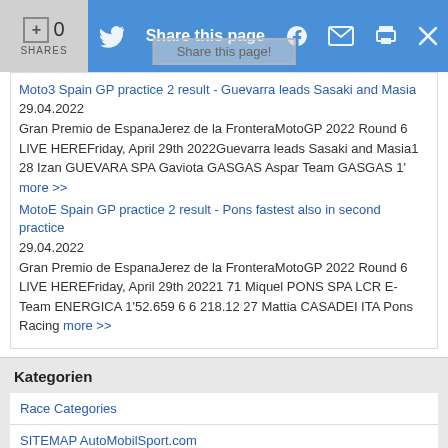[Figure (screenshot): Share bar with Twitter, Facebook, email, print, and close icons on blue background; left side shows +0 SHARES on grey background]
Share this page!
Moto3 Spain GP practice 2 result - Guevarra leads Sasaki and Masia
29.04.2022
Gran Premio de EspanaJerez de la FronteraMotoGP 2022 Round 6 LIVE HEREFriday, April 29th 2022Guevarra leads Sasaki and Masia1 28 Izan GUEVARA SPA Gaviota GASGAS Aspar Team GASGAS 1' more >>
MotoE Spain GP practice 2 result - Pons fastest also in second practice
29.04.2022
Gran Premio de EspanaJerez de la FronteraMotoGP 2022 Round 6 LIVE HEREFriday, April 29th 20221 71 Miquel PONS SPA LCR E-Team ENERGICA 1'52.659 6 6 218.12 27 Mattia CASADEI ITA Pons Racing more >>
Kategorien
Race Categories
SITEMAP AutoMobilSport.com
BusinessWire PR
VIDEOS